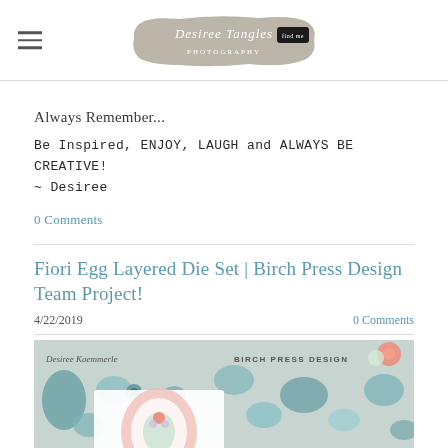Desiree Tangles — logo/navigation header
Always Remember...
Be Inspired, ENJOY, LAUGH and ALWAYS BE CREATIVE!
~ Desiree
0 Comments
Fiori Egg Layered Die Set | Birch Press Design Team Project!
4/22/2019
0 Comments
[Figure (photo): Photo showing crafting supplies including teal/green stones, beads, and a decorative egg die cut card with floral design, with 'Desiree Kaemmerle' and 'BIRCH PRESS DESIGN' text overlay]